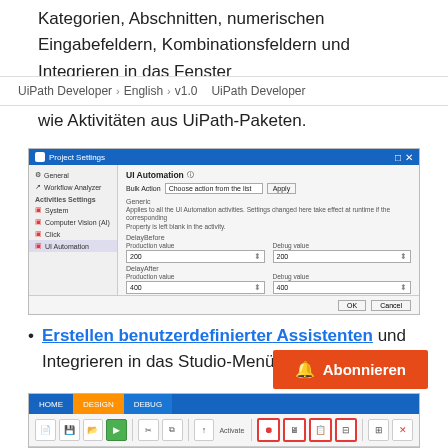Kategorien, Abschnitten, numerischen Eingabefeldern, Kombinationsfeldern und Integrieren in das Fenster
UiPath Developer › English › v1.0 UiPath Developer
wie Aktivitäten aus UiPath-Paketen.
[Figure (screenshot): Screenshot of UiPath Studio Project Settings dialog showing UI Automation settings with DelayBefore, DelayAfter, Timeout, and WaitForReady fields each with Production value and Debug value inputs.]
Erstellen benutzerdefinierter Assistenten und Integrieren in das Studio-Menüba…
[Figure (screenshot): Screenshot of UiPath Studio toolbar with HOME, DESIGN, DEBUG tabs and various toolbar icons including a highlighted record section with red border.]